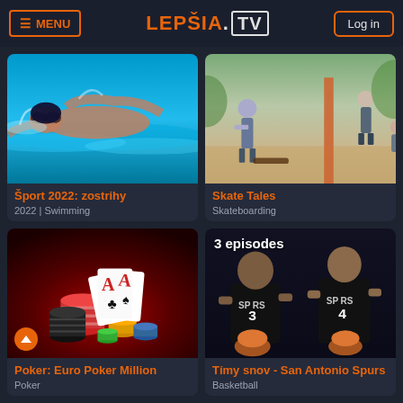MENU | LEPŠIA.TV | Log in
[Figure (screenshot): Swimmer doing butterfly stroke in blue pool water]
Šport 2022: zostrihy
2022 | Swimming
[Figure (photo): Skateboarders at an outdoor skate park]
Skate Tales
Skateboarding
[Figure (photo): Poker chips and playing cards (aces) on red background]
Poker: Euro Poker Million
Poker
[Figure (photo): Two San Antonio Spurs basketball players wearing #3 and #4 jerseys, with badge '3 episodes']
Tímy snov - San Antonio Spurs
Basketball